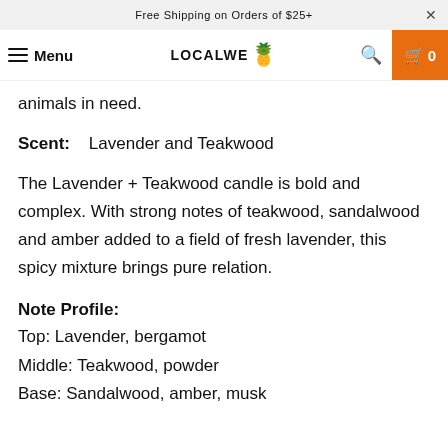Free Shipping on Orders of $25+
Menu | LOCALWE | 0
animals in need.
Scent:   Lavender and Teakwood
The Lavender + Teakwood candle is bold and complex. With strong notes of teakwood, sandalwood and amber added to a field of fresh lavender, this spicy mixture brings pure relation.
Note Profile:
Top: Lavender, bergamot
Middle: Teakwood, powder
Base: Sandalwood, amber, musk